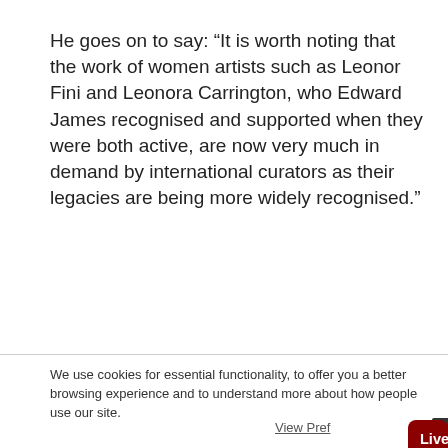He goes on to say: “It is worth noting that the work of women artists such as Leonor Fini and Leonora Carrington, who Edward James recognised and supported when they were both active, are now very much in demand by international curators as their legacies are being more widely recognised.”
We use cookies for essential functionality, to offer you a better browsing experience and to understand more about how people use our site.
View Pref...
Live Chat is online. How can we help?